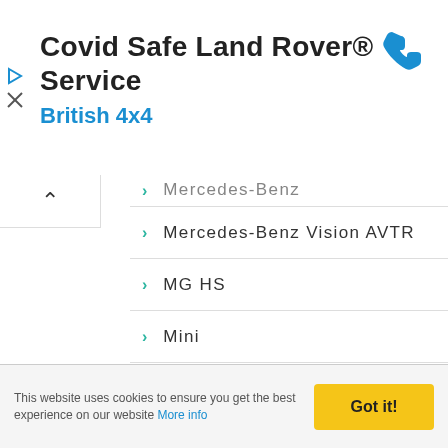[Figure (other): Advertisement banner for Covid Safe Land Rover Service by British 4x4 with phone icon]
Mercedes-Benz (partially visible)
Mercedes-Benz Vision AVTR
MG HS
Mini
Mini Cooper
MiniCooper
Mitsubishi
Mokka
Morgan
This website uses cookies to ensure you get the best experience on our website More info  Got it!